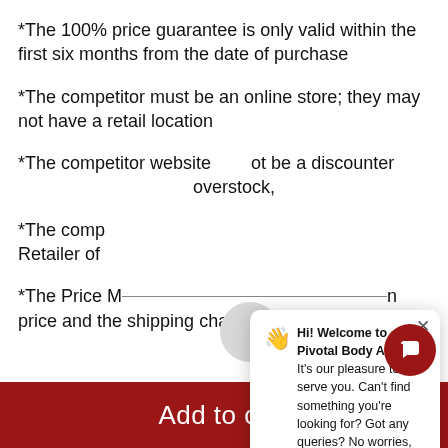*The 100% price guarantee is only valid within the first six months from the date of purchase
*The competitor must be an online store; they may not have a retail location
*The competitor website [must n]ot be a discounter [or sell] overstock, [etc.]
*The comp[etitor must be an Authorized] Retailer of [the product]
*The Price M[atch] Guarantee [i]ncludes the [ite]m price and the shipping charges; it exclud[es...]
[Figure (screenshot): Chat popup overlay with waving hand emoji and welcome message from Pivotal Body Armor. Gray circle partially hidden behind popup. Close X button. Message: Hi! Welcome to Pivotal Body Armor. It's our pleasure to serve you. Can't find something you're looking for? Got any queries? No worries, we got you covered]
Add to cart